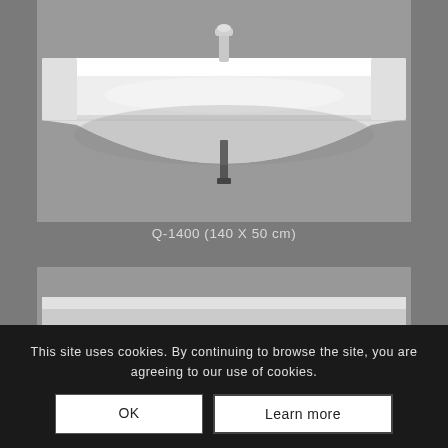[Figure (photo): White wall-mounted bathroom sink/washbasin with a single tap, photographed against a gray background. The sink is wide and shallow with a curved front profile.]
Q-1400 (140 X 50 cm)
[Figure (photo): Partial view of a second bathroom sink product, mostly obscured by the cookie consent overlay. Gray background visible.]
This site uses cookies. By continuing to browse the site, you are agreeing to our use of cookies.